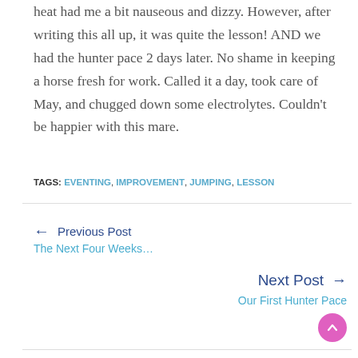heat had me a bit nauseous and dizzy. However, after writing this all up, it was quite the lesson! AND we had the hunter pace 2 days later. No shame in keeping a horse fresh for work. Called it a day, took care of May, and chugged down some electrolytes. Couldn’t be happier with this mare.
TAGS: EVENTING, IMPROVEMENT, JUMPING, LESSON
← Previous Post
The Next Four Weeks…
Next Post →
Our First Hunter Pace